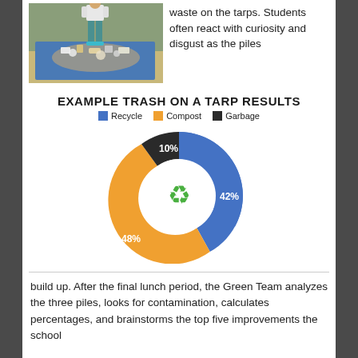[Figure (photo): Photo of a person standing next to piles of sorted waste/trash spread out on blue tarps on a gymnasium floor.]
waste on the tarps. Students often react with curiosity and disgust as the piles
EXAMPLE TRASH ON A TARP RESULTS
[Figure (donut-chart): EXAMPLE TRASH ON A TARP RESULTS]
build up. After the final lunch period, the Green Team analyzes the three piles, looks for contamination, calculates percentages, and brainstorms the top five improvements the school